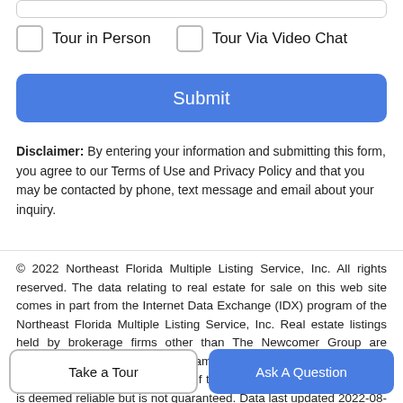Tour in Person
Tour Via Video Chat
Submit
Disclaimer: By entering your information and submitting this form, you agree to our Terms of Use and Privacy Policy and that you may be contacted by phone, text message and email about your inquiry.
© 2022 Northeast Florida Multiple Listing Service, Inc. All rights reserved. The data relating to real estate for sale on this web site comes in part from the Internet Data Exchange (IDX) program of the Northeast Florida Multiple Listing Service, Inc. Real estate listings held by brokerage firms other than The Newcomer Group are marked with the listing broker's name and detailed information about such listings includes the name of the listing brokers. Data provided is deemed reliable but is not guaranteed. Data last updated 2022-08-26T08:30:51.323. Digital Millennium Copyright
Take a Tour
Ask A Question